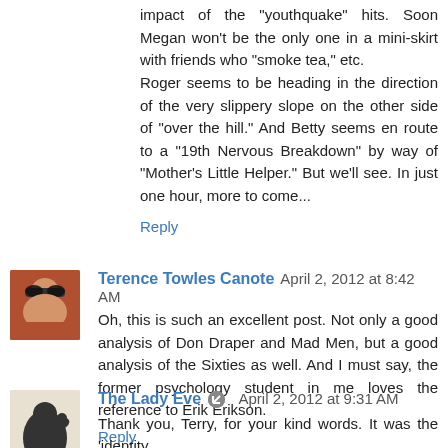impact of the "youthquake" hits. Soon Megan won't be the only one in a mini-skirt with friends who "smoke tea," etc.
Roger seems to be heading in the direction of the very slippery slope on the other side of "over the hill." And Betty seems en route to a "19th Nervous Breakdown" by way of "Mother's Little Helper." But we'll see. In just one hour, more to come...
Reply
Terence Towles Canote  April 2, 2012 at 8:42 AM
Oh, this is such an excellent post. Not only a good analysis of Don Draper and Mad Men, but a good analysis of the Sixties as well. And I must say, the former psychology student in me loves the reference to Erik Erikson.
Reply
The Lady Eve  April 2, 2012 at 9:31 AM
Thank you, Terry, for your kind words. It was the 'identity